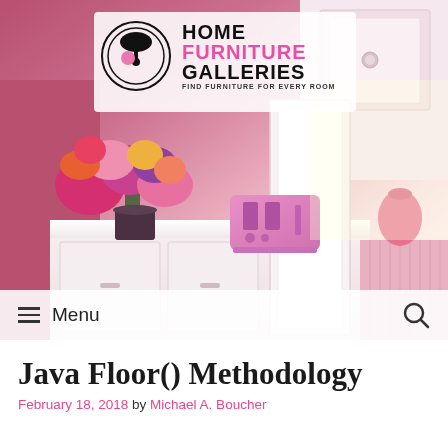[Figure (photo): A bright pink kitchen scene with white cabinets, a pink toaster, colorful flower bouquet, and a pink decorative vase on the counter. The Home Furniture Galleries logo is overlaid at the top center.]
HOME FURNITURE GALLERIES — FIND FURNITURE FOR EVERY ROOM
≡ Menu 🔍
Java Floor() Methodology
February 18, 2018 by Michael A. Boucher